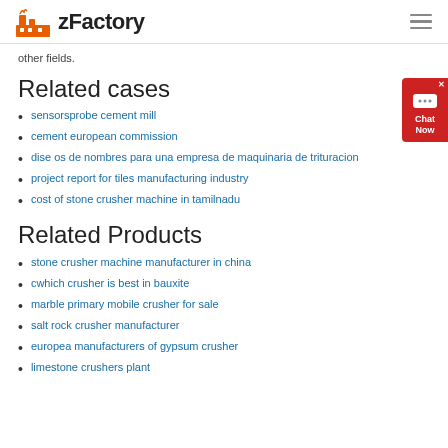zFactory
other fields.
Related cases
sensorsprobe cement mill
cement european commission
dise os de nombres para una empresa de maquinaria de trituracion
project report for tiles manufacturing industry
cost of stone crusher machine in tamilnadu
Related Products
stone crusher machine manufacturer in china
cwhich crusher is best in bauxite
marble primary mobile crusher for sale
salt rock crusher manufacturer
europea manufacturers of gypsum crusher
limestone crushers plant